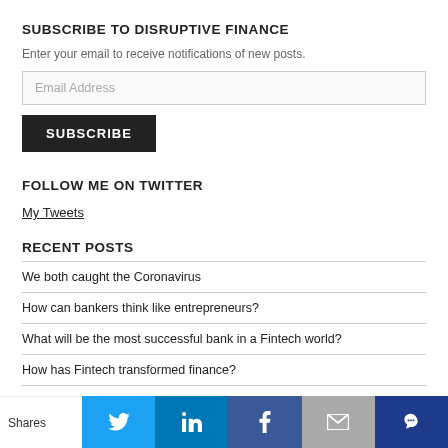SUBSCRIBE TO DISRUPTIVE FINANCE
Enter your email to receive notifications of new posts.
Email Address
SUBSCRIBE
FOLLOW ME ON TWITTER
My Tweets
RECENT POSTS
We both caught the Coronavirus
How can bankers think like entrepreneurs?
What will be the most successful bank in a Fintech world?
How has Fintech transformed finance?
Shares